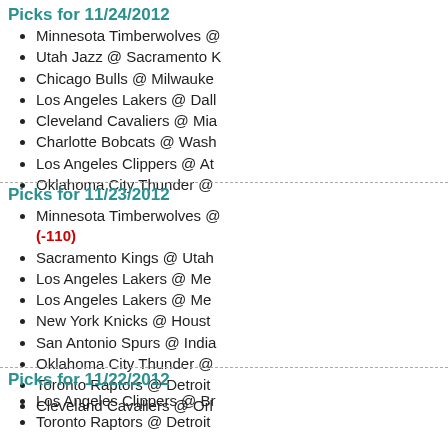Picks for 11/24/2012
Minnesota Timberwolves @
Utah Jazz @ Sacramento K
Chicago Bulls @ Milwauke
Los Angeles Lakers @ Dall
Cleveland Cavaliers @ Mia
Charlotte Bobcats @ Wash
Los Angeles Clippers @ At
Oklahoma City Thunder @
Picks for 11/23/2012
Minnesota Timberwolves @ (-110)
Sacramento Kings @ Utah
Los Angeles Lakers @ Me
Los Angeles Lakers @ Me
New York Knicks @ Houst
San Antonio Spurs @ India
Oklahoma City Thunder @
Toronto Raptors @ Detroit
Cleveland Cavaliers @ Orl
Picks for 11/22/2012
Los Angeles Clippers @ Br
Toronto Raptors @ Detroit